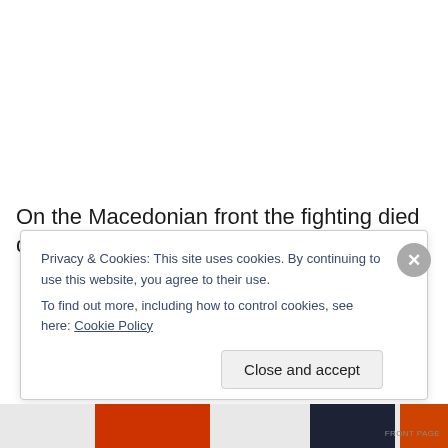On the Macedonian front the fighting died down with the
Privacy & Cookies: This site uses cookies. By continuing to use this website, you agree to their use.
To find out more, including how to control cookies, see here: Cookie Policy
Close and accept